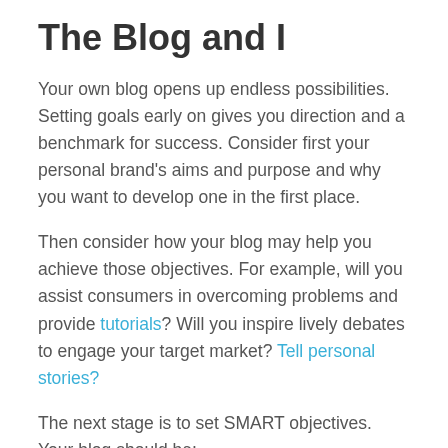The Blog and I
Your own blog opens up endless possibilities. Setting goals early on gives you direction and a benchmark for success. Consider first your personal brand's aims and purpose and why you want to develop one in the first place.
Then consider how your blog may help you achieve those objectives. For example, will you assist consumers in overcoming problems and provide tutorials? Will you inspire lively debates to engage your target market? Tell personal stories?
The next stage is to set SMART objectives. Your blog should be:
Specific. Consider how to define a vague aim like "how do we grow?"Gaining a better understanding...